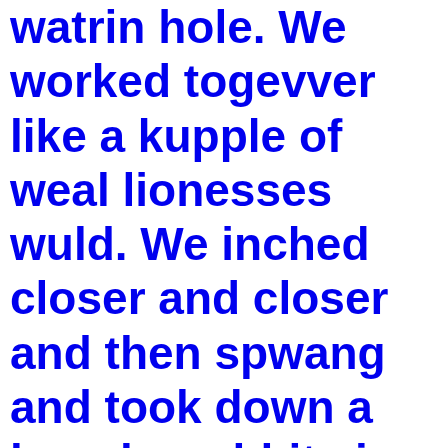watrin hole. we worked togevver like a kupple of weal lionesses wuld. We inched closer and closer and then spwang and took down a kupple wabbits in one pounce. We carried them back to our camp and cleaned 'em up and